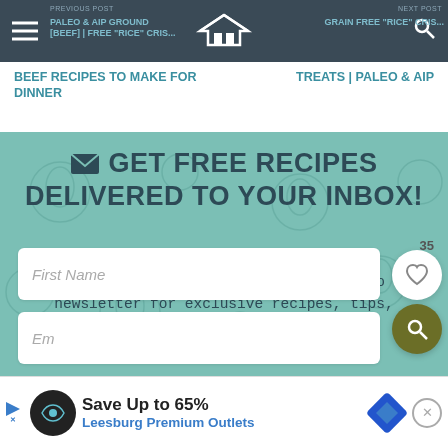PREVIOUS POST | NEXT POST
PALEO & AIP GROUND [BEEF] | [GRAIN] FREE "RICE" CRIS[P]... BEEF RECIPES TO MAKE FOR DINNER | TREATS | PALEO & AIP
✉ GET FREE RECIPES DELIVERED TO YOUR INBOX!
Join thousands of others and subscribe to the newsletter for exclusive recipes, tips, recommendations, and more!
First Name
Email
[Figure (screenshot): Advertisement banner: Save Up to 65% Leesburg Premium Outlets]
35